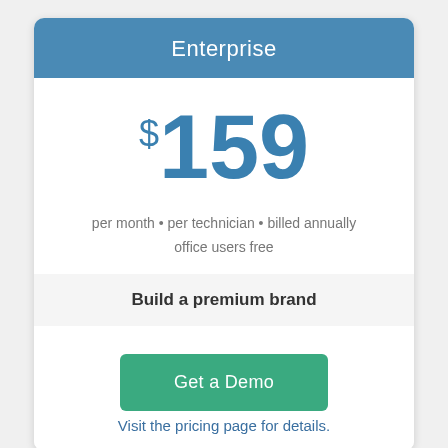Enterprise
$159
per month • per technician • billed annually
office users free
Build a premium brand
Get a Demo
Visit the pricing page for details.